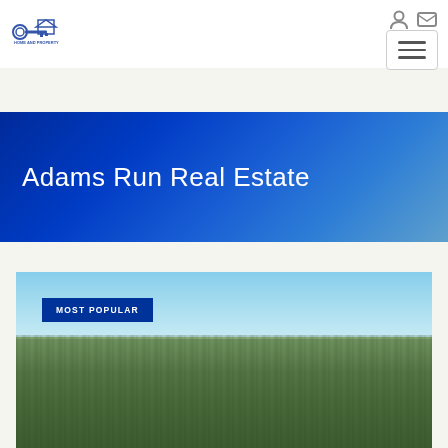[Figure (logo): Real estate company logo with key icon and house graphic]
[Figure (screenshot): Navigation icons: login/user icon and envelope/mail icon]
[Figure (other): Hamburger menu button with three horizontal lines]
Adams Run Real Estate
[Figure (photo): Aerial photograph of forested land with light blue sky, showing pine tree canopy from above with horizon line separating sky and forest]
MOST POPULAR